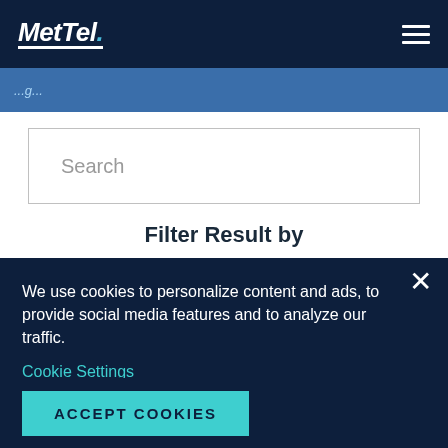MetTel.
Search
Filter Result by
We use cookies to personalize content and ads, to provide social media features and to analyze our traffic.
Cookie Settings
Cookie Policy
ACCEPT COOKIES